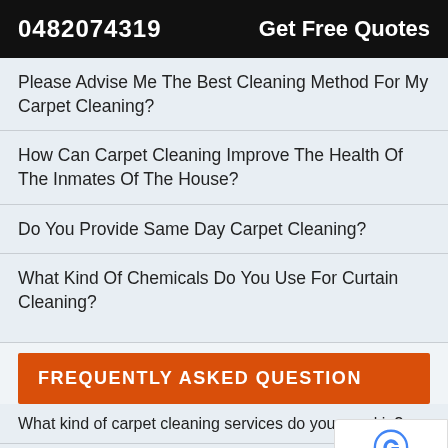0482074319   Get Free Quotes
Please Advise Me The Best Cleaning Method For My Carpet Cleaning?
How Can Carpet Cleaning Improve The Health Of The Inmates Of The House?
Do You Provide Same Day Carpet Cleaning?
What Kind Of Chemicals Do You Use For Curtain Cleaning?
FREQUENTLY ASKED QUESTION
What kind of carpet cleaning services do you excel in?
Tip Top Clean Team excels in a variety of carpet